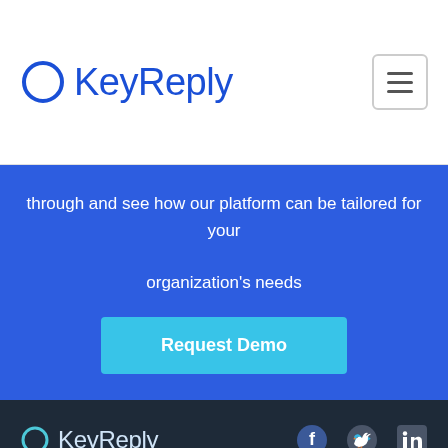[Figure (logo): KeyReply logo with circle icon in blue on white header background]
[Figure (illustration): Hamburger menu icon (three horizontal lines) in a rounded square border]
through and see how our platform can be tailored for your organization's needs
Request Demo
[Figure (logo): KeyReply logo with circle icon in light blue on dark footer background]
[Figure (illustration): Social media icons: Facebook, Twitter, LinkedIn on dark background]
1 North Bridge Road #08-08, High Street Centre, Singapore 179094